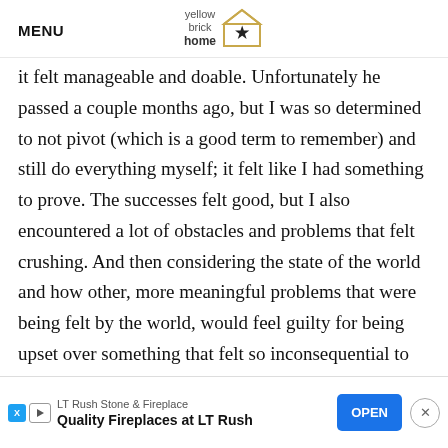MENU | yellow brick home
it felt manageable and doable. Unfortunately he passed a couple months ago, but I was so determined to not pivot (which is a good term to remember) and still do everything myself; it felt like I had something to prove. The successes felt good, but I also encountered a lot of obstacles and problems that felt crushing. And then considering the state of the world and how other, more meaningful problems that were being felt by the world, would feel guilty for being upset over something that felt so inconsequential to the wo... say is t... a
[Figure (other): Advertisement banner: LT Rush Stone & Fireplace - Quality Fireplaces at LT Rush, with OPEN button and close button]